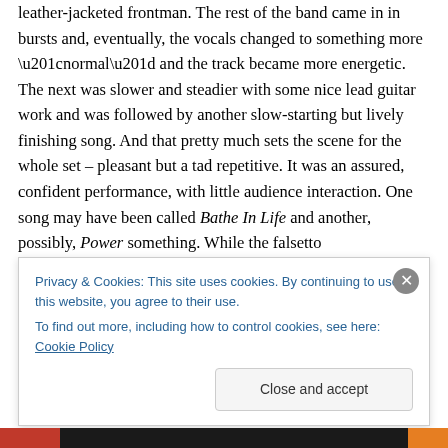leather-jacketed frontman. The rest of the band came in in bursts and, eventually, the vocals changed to something more “normal” and the track became more energetic. The next was slower and steadier with some nice lead guitar work and was followed by another slow-starting but lively finishing song. And that pretty much sets the scene for the whole set – pleasant but a tad repetitive. It was an assured, confident performance, with little audience interaction. One song may have been called Bathe In Life and another, possibly, Power something. While the falsetto
Privacy & Cookies: This site uses cookies. By continuing to use this website, you agree to their use.
To find out more, including how to control cookies, see here: Cookie Policy